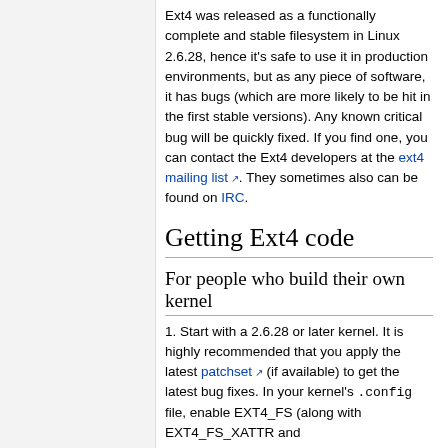Ext4 was released as a functionally complete and stable filesystem in Linux 2.6.28, hence it's safe to use it in production environments, but as any piece of software, it has bugs (which are more likely to be hit in the first stable versions). Any known critical bug will be quickly fixed. If you find one, you can contact the Ext4 developers at the ext4 mailing list. They sometimes also can be found on IRC.
Getting Ext4 code
For people who build their own kernel
1. Start with a 2.6.28 or later kernel. It is highly recommended that you apply the latest patchset (if available) to get the latest bug fixes. In your kernel's .config file, enable EXT4_FS (along with EXT4_FS_XATTR and EXT4_FS_POSIX_ACL if you like).
2. Compile the latest version of e2fsprogs (as of this writing 1.41.4) from kernel.org or